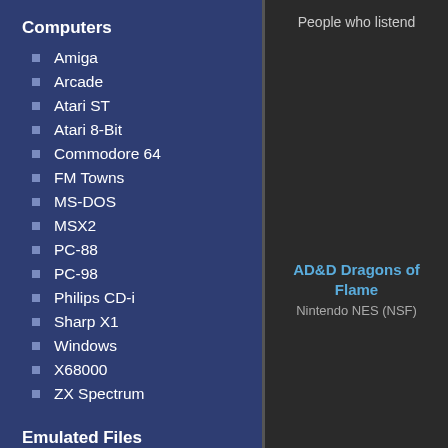Computers
Amiga
Arcade
Atari ST
Atari 8-Bit
Commodore 64
FM Towns
MS-DOS
MSX2
PC-88
PC-98
Philips CD-i
Sharp X1
Windows
X68000
ZX Spectrum
Emulated Files
People who listend
AD&D Dragons of Flame
Nintendo NES (NSF)